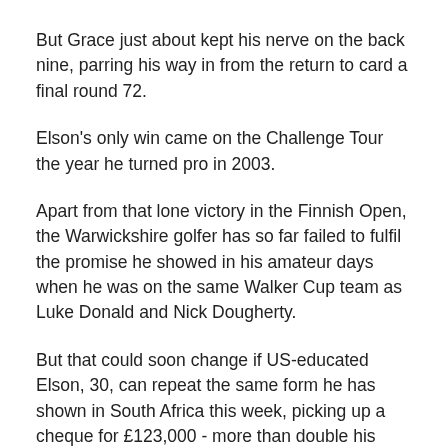But Grace just about kept his nerve on the back nine, parring his way in from the return to card a final round 72.
Elson's only win came on the Challenge Tour the year he turned pro in 2003.
Apart from that lone victory in the Finnish Open, the Warwickshire golfer has so far failed to fulfil the promise he showed in his amateur days when he was on the same Walker Cup team as Luke Donald and Nick Dougherty.
But that could soon change if US-educated Elson, 30, can repeat the same form he has shown in South Africa this week, picking up a cheque for £123,000 - more than double his previous biggest payday.
Already the son of former tour pro Pip is up to third in the order of merit for this year's Race To Dubai.